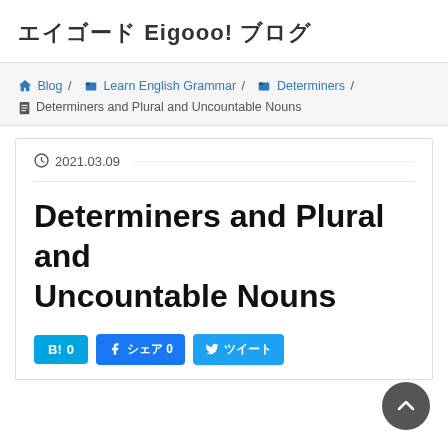エイゴード Eigooo! ブログ
Blog / Learn English Grammar / Determiners / Determiners and Plural and Uncountable Nouns
2021.03.09
Determiners and Plural and Uncountable Nouns
B! 0  シェア 0  ツイート